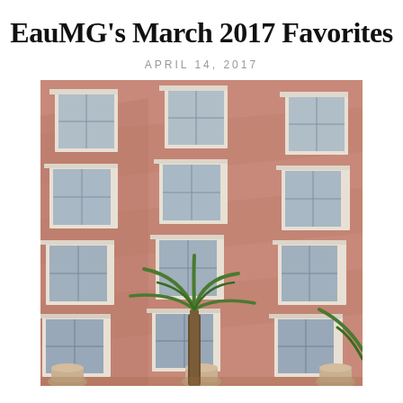EauMG's March 2017 Favorites
APRIL 14, 2017
[Figure (photo): Photograph of a pink stucco hotel building facade with multiple rows of white-trimmed windows, shot at an upward angle showing 5 floors with 3 columns of windows each. A palm tree is visible in the lower center of the image, and decorative architectural elements appear at the bottom.]